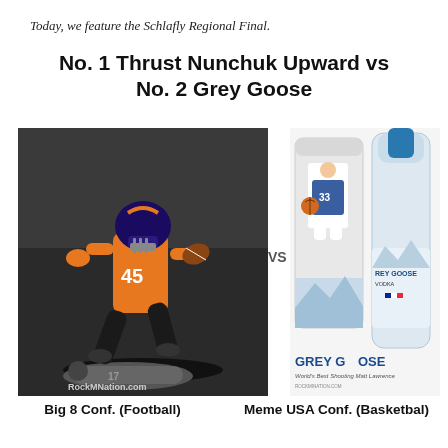Today, we feature the Schlafly Regional Final.
No. 1 Thrust Nunchuk Upward vs No. 2 Grey Goose
[Figure (photo): A football player wearing jersey number 45 in orange and black uniform jumping over a tackled player on the ground. Black and white photo with color accents. Watermark: RockMNation.com]
[Figure (photo): Grey Goose vodka bottle and cylindrical tin container with a basketball player wearing jersey number 33. Text reads GREY GOOSE Vodka, World's Best Shooting Matt Lawrence, ROCKMINATION.COM]
VS
Big 8 Conf. (Football)
Meme USA Conf. (Basketbal)